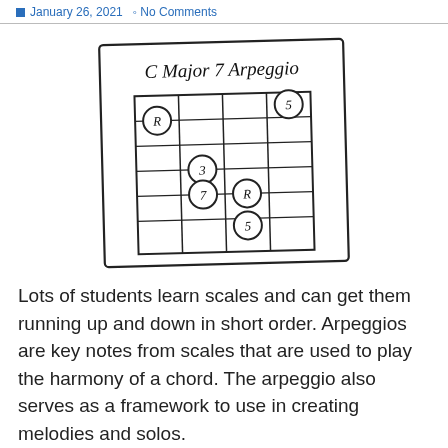January 26, 2021  No Comments
[Figure (illustration): Hand-drawn guitar fretboard diagram showing C Major 7 Arpeggio fingering positions, with circled note markers labeled R (root), 3, 7, 5, R, 5 on a grid representing strings and frets.]
Lots of students learn scales and can get them running up and down in short order. Arpeggios are key notes from scales that are used to play the harmony of a chord. The arpeggio also serves as a framework to use in creating melodies and solos.
The goal is for you to know where physically these key notes are located on the fretboard.